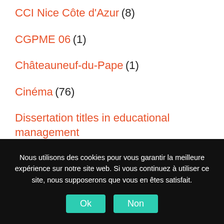CCI Nice Côte d'Azur (8)
CGPME 06 (1)
Châteauneuf-du-Pape (1)
Cinéma (76)
Dissertation titles in educational management (1)
English regents essay june 2007 (16)
Nous utilisons des cookies pour vous garantir la meilleure expérience sur notre site web. Si vous continuez à utiliser ce site, nous supposerons que vous en êtes satisfait.
Ok  Non